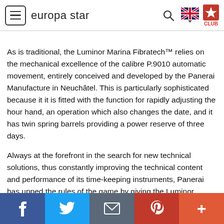europa star
As is traditional, the Luminor Marina Fibratech™ relies on the mechanical excellence of the calibre P.9010 automatic movement, entirely conceived and developed by the Panerai Manufacture in Neuchâtel. This is particularly sophisticated because it it is fitted with the function for rapidly adjusting the hour hand, an operation which also changes the date, and it has twin spring barrels providing a power reserve of three days.
Always at the forefront in the search for new technical solutions, thus constantly improving the technical content and performance of its time-keeping instruments, Panerai has upped the rules of the game by giving the Luminor Marina Fibratech™ – 44 mm a guarantee of 70 years. Throughout this period Panerai will maintain the good working order of the client's